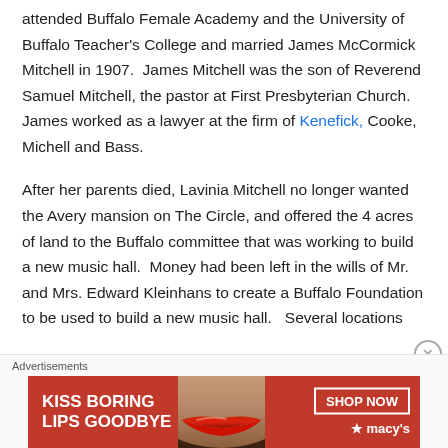attended Buffalo Female Academy and the University of Buffalo Teacher's College and married James McCormick Mitchell in 1907.  James Mitchell was the son of Reverend Samuel Mitchell, the pastor at First Presbyterian Church.  James worked as a lawyer at the firm of Kenefick, Cooke, Michell and Bass.
After her parents died, Lavinia Mitchell no longer wanted the Avery mansion on The Circle, and offered the 4 acres of land to the Buffalo committee that was working to build a new music hall.  Money had been left in the wills of Mr. and Mrs. Edward Kleinhans to create a Buffalo Foundation to be used to build a new music hall.   Several locations
[Figure (other): Advertisement banner: Macy's lip product ad reading 'KISS BORING LIPS GOODBYE' with a woman's lips photo and 'SHOP NOW' button with Macy's star logo]